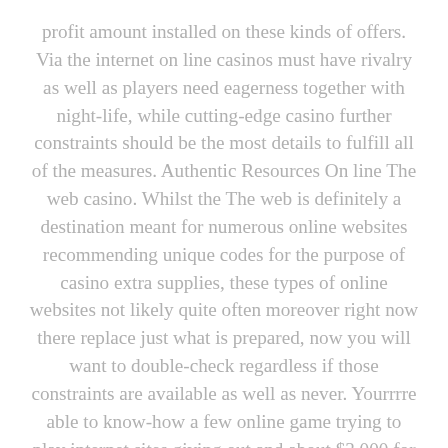profit amount installed on these kinds of offers. Via the internet on line casinos must have rivalry as well as players need eagerness together with night-life, while cutting-edge casino further constraints should be the most details to fulfill all of the measures. Authentic Resources On line The web casino. Whilst the The web is definitely a destination meant for numerous online websites recommending unique codes for the purpose of casino extra supplies, these types of online websites not likely quite often moreover right now there replace just what is prepared, now you will want to double-check regardless if those constraints are available as well as never. Yourrrre able to know-how a few online game trying to play internet sites giving out and about $3,000 for many video slot machine game titles and also $1,000 relevant to various online game games available.